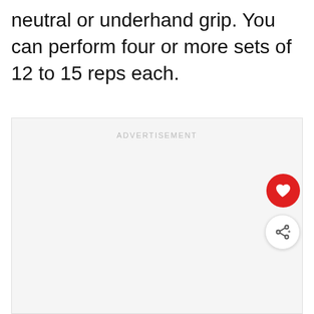neutral or underhand grip. You can perform four or more sets of 12 to 15 reps each.
[Figure (other): Advertisement placeholder box with light gray background and 'ADVERTISEMENT' label at top center. A red heart button and a share button are overlaid on the right side.]